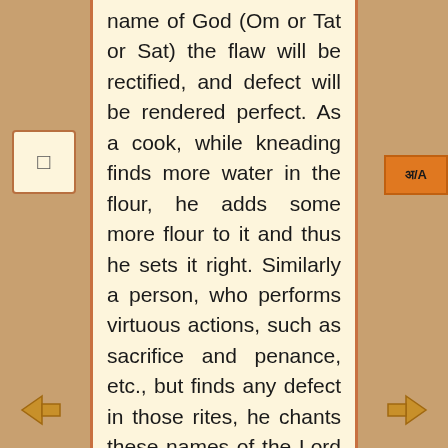name of God (Om or Tat or Sat) the flaw will be rectified, and defect will be rendered perfect. As a cook, while kneading finds more water in the flour, he adds some more flour to it and thus he sets it right. Similarly a person, who performs virtuous actions, such as sacrifice and penance, etc., but finds any defect in those rites, he chants these names of the Lord and that recitation of Names corrects the defect.